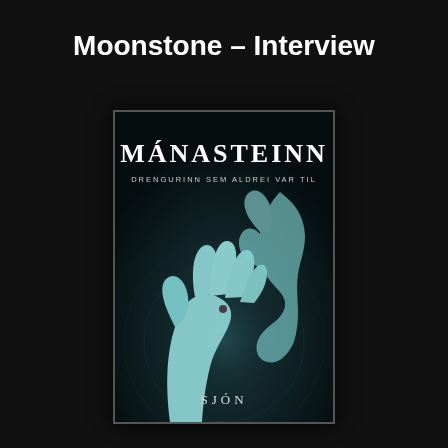Moonstone – Interview
[Figure (illustration): Book cover for 'Mánasteinn – Drengurinn sem aldrei var til' by Sjón. Dark teal/blue atmospheric image of two hands reaching toward each other against a dark background with subtle circular light patterns. White serif text at top reads 'MÁNASTEINN', smaller text below reads 'DRENGURINN SEM ALDREI VAR TIL', and author name 'SJÓN' appears at bottom.]